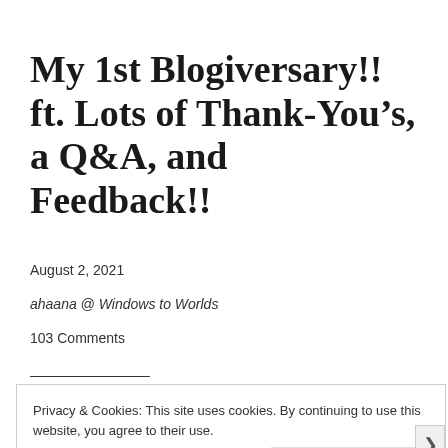My 1st Blogiversary!! ft. Lots of Thank-You’s, a Q&A, and Feedback!!
August 2, 2021
ahaana @ Windows to Worlds
103 Comments
Privacy & Cookies: This site uses cookies. By continuing to use this website, you agree to their use.
To find out more, including how to control cookies, see here: Cookie Policy
Close and accept